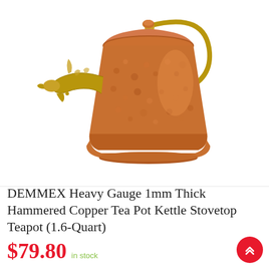[Figure (photo): A hammered copper tea pot kettle with ornate brass spout and handle, photographed on a white background. The kettle has a bell shape with a domed lid and decorative brass bird-head spout.]
DEMMEX Heavy Gauge 1mm Thick Hammered Copper Tea Pot Kettle Stovetop Teapot (1.6-Quart)
$79.80  in stock